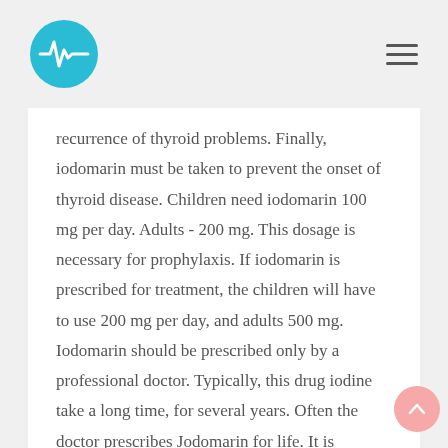recurrence of thyroid problems. Finally, iodomarin must be taken to prevent the onset of thyroid disease. Children need iodomarin 100 mg per day. Adults - 200 mg. This dosage is necessary for prophylaxis. If iodomarin is prescribed for treatment, the children will have to use 200 mg per day, and adults 500 mg. Iodomarin should be prescribed only by a professional doctor. Typically, this drug iodine take a long time, for several years. Often the doctor prescribes Jodomarin for life. It is necessary to replenish the required amount of iodine in the patient's body.
Laminaria is another element or drug that can replace iodomarin. This algae, which